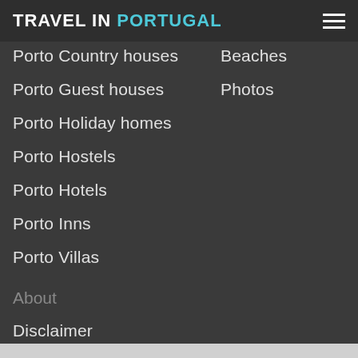TRAVEL IN PORTUGAL
Porto Country houses
Beaches
Porto Guest houses
Photos
Porto Holiday homes
Porto Hostels
Porto Hotels
Porto Inns
Porto Villas
About
Disclaimer
Privacy policy
Terms of Use